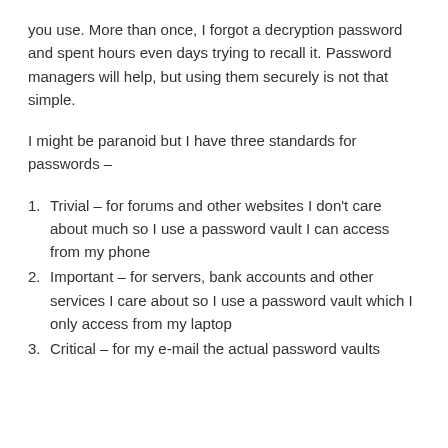you use. More than once, I forgot a decryption password and spent hours even days trying to recall it. Password managers will help, but using them securely is not that simple.
I might be paranoid but I have three standards for passwords –
Trivial – for forums and other websites I don't care about much so I use a password vault I can access from my phone
Important – for servers, bank accounts and other services I care about so I use a password vault which I only access from my laptop
Critical – for my e-mail the actual password vaults